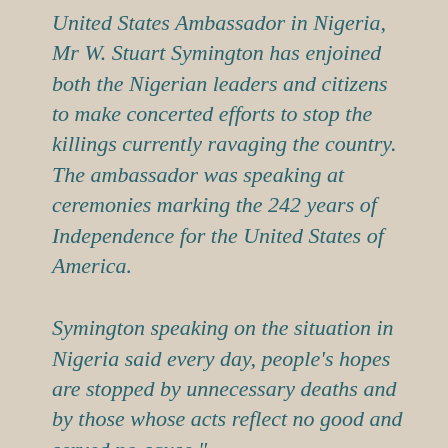United States Ambassador in Nigeria, Mr W. Stuart Symington has enjoined both the Nigerian leaders and citizens to make concerted efforts to stop the killings currently ravaging the country. The ambassador was speaking at ceremonies marking the 242 years of Independence for the United States of America.
Symington speaking on the situation in Nigeria said every day, people's hopes are stopped by unnecessary deaths and by those whose acts reflect no good and served no cause."